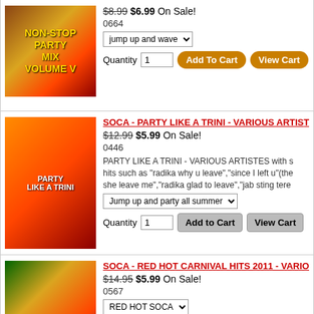[Figure (photo): Album cover for Non-Stop Party Mix Volume V]
$8.99 $6.99 On Sale!
0664
jump up and wave [dropdown]
Quantity 1 [Add To Cart] [View Cart]
[Figure (photo): Album cover for Soca - Party Like A Trini - Various Artistes]
SOCA - PARTY LIKE A TRINI - VARIOUS ARTIST...
$12.99 $5.99 On Sale!
0446
PARTY LIKE A TRINI - VARIOUS ARTISTES with s hits such as "radika why u leave","since I left u"(the she leave me","radika glad to leave","jab sting tere
Jump up and party all summer [dropdown]
Quantity 1 [Add to Cart] [View Cart]
[Figure (photo): Album cover for Soca - Red Hot Carnival Hits 2011]
SOCA - RED HOT CARNIVAL HITS 2011 - VARIO...
$14.95 $5.99 On Sale!
0567
RED HOT SOCA [dropdown]
Quantity 1 [Add to Cart] [View Cart]